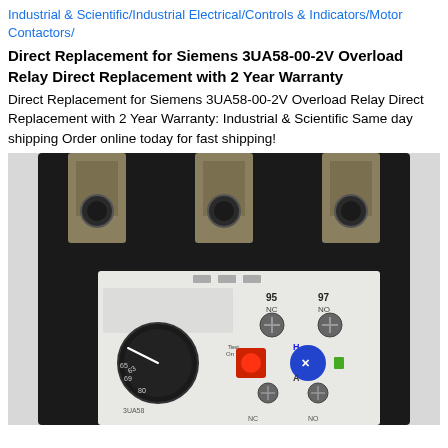Industrial & Scientific/Industrial Electrical/Controls & Indicators/Motor Contactors/
Direct Replacement for Siemens 3UA58-00-2V Overload Relay Direct Replacement with 2 Year Warranty
Direct Replacement for Siemens 3UA58-00-2V Overload Relay Direct Replacement with 2 Year Warranty: Industrial & Scientific Same day shipping Order online today for fast shipping!
[Figure (photo): Photo of a Siemens 3UA58-00-2V overload relay motor contactor showing three metallic terminal lugs at the top, a black housing body, and a white front panel with labeled screw terminals (95 NC, 97 NO), a red reset button, a blue auto/manual selector button, adjustment dial with current range markings, and auxiliary contact terminals.]